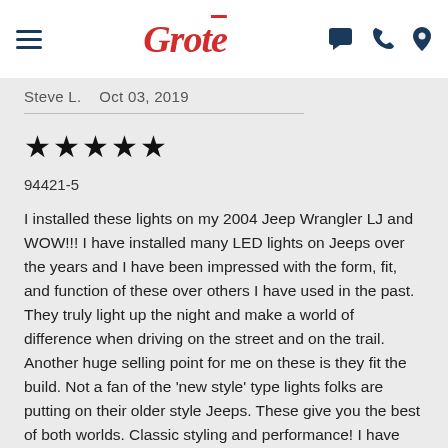Grote [logo with hamburger menu and icons]
Steve L.    Oct 03, 2019
[Figure (other): Five black star rating icons]
94421-5
I installed these lights on my 2004 Jeep Wrangler LJ and WOW!!! I have installed many LED lights on Jeeps over the years and I have been impressed with the form, fit, and function of these over others I have used in the past. They truly light up the night and make a world of difference when driving on the street and on the trail. Another huge selling point for me on these is they fit the build. Not a fan of the 'new style' type lights folks are putting on their older style Jeeps. These give you the best of both worlds. Classic styling and performance! I have had them installed for a few months